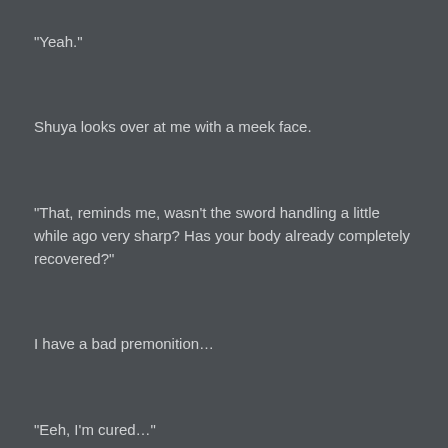“Yeah.”
Shuya looks over at me with a meek face.
“That, reminds me, wasn’t the sword handling a little while ago very sharp? Has your body already completely recovered?”
I have a bad premonition…
“Eeh, I’m cured…”